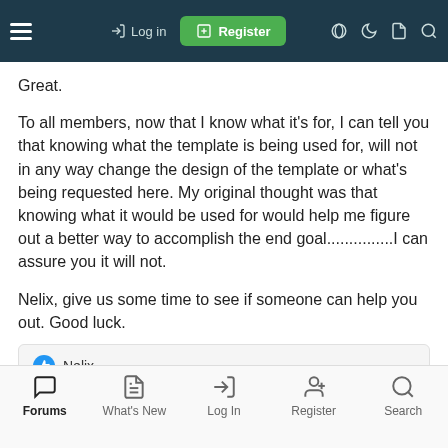[Figure (screenshot): Top navigation bar with hamburger menu, Log in link, green Register button, and icon controls on dark teal background]
Great.
To all members, now that I know what it's for, I can tell you that knowing what the template is being used for, will not in any way change the design of the template or what's being requested here. My original thought was that knowing what it would be used for would help me figure out a better way to accomplish the end goal...............I can assure you it will not.
Nelix, give us some time to see if someone can help you out. Good luck.
👍 Nelix
[Figure (screenshot): Bottom navigation bar with Forums, What's New, Log In, Register, and Search icons]